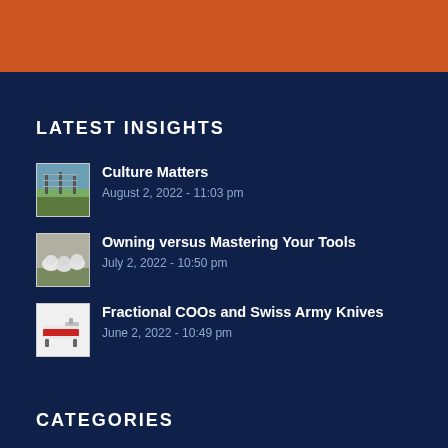LATEST INSIGHTS
Culture Matters
August 2, 2022 - 11:03 pm
Owning versus Mastering Your Tools
July 2, 2022 - 10:50 pm
Fractional COOs and Swiss Army Knives
June 2, 2022 - 10:49 pm
CATEGORIES